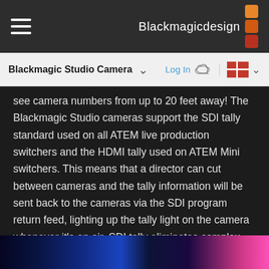Blackmagicdesign
Blackmagic Studio Camera
see camera numbers from up to 20 feet away! The Blackmagic Studio cameras support the SDI tally standard used on all ATEM live production switchers and the HDMI tally used on ATEM Mini switchers. This means that a director can cut between cameras and the tally information will be sent back to the cameras via the SDI program return feed, lighting up the tally light on the camera whenever it's on air. SDI tally eliminates complex wiring so job setup is faster.
[Figure (photo): Bottom strip showing a dark blue and magenta tinted photographic image, likely of a camera or production equipment scene]